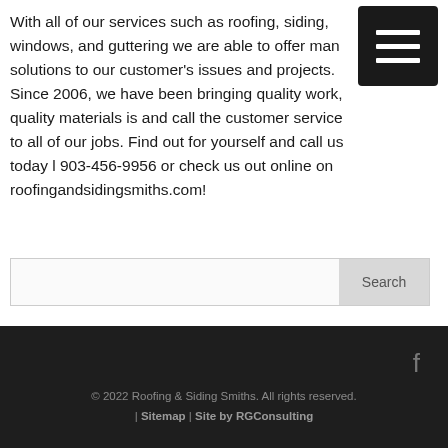With all of our services such as roofing, siding, windows, and guttering we are able to offer many solutions to our customer's issues and projects. Since 2006, we have been bringing quality work, quality materials is and call the customer service to all of our jobs. Find out for yourself and call us today l 903-456-9956 or check us out online on roofingandsidingsmiths.com!
[Figure (other): Dark square menu button with three horizontal white bars (hamburger menu icon)]
Search
© 2022 Roofing & Siding Smiths. All rights reserved. | Sitemap | Site by RGConsulting